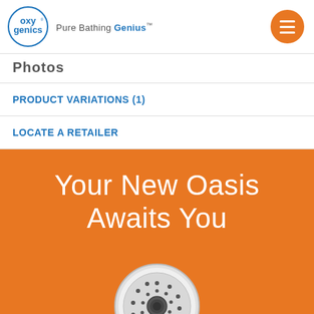[Figure (logo): Oxygenics logo with circular design and tagline 'Pure Bathing Genius']
Photos
PRODUCT VARIATIONS (1)
LOCATE A RETAILER
Your New Oasis Awaits You
[Figure (photo): Chrome handheld showerhead on orange background]